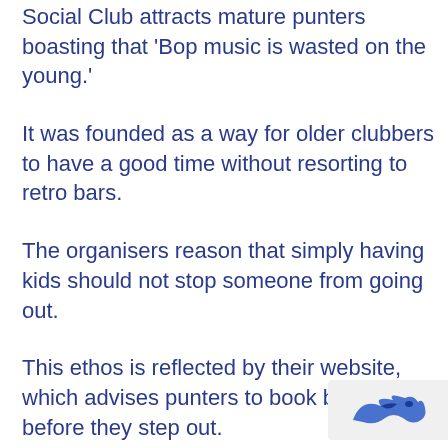Social Club attracts mature punters boasting that 'Bop music is wasted on the young.'
It was founded as a way for older clubbers to have a good time without resorting to retro bars.
The organisers reason that simply having kids should not stop someone from going out.
This ethos is reflected by their website, which advises punters to book baby-sitters before they step out.
[Figure (logo): Small reCAPTCHA or brand logo in bottom-right corner]